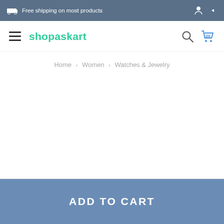Free shipping on most products
shopaskart
Home › Women › Watches & Jewelry
ADD TO CART